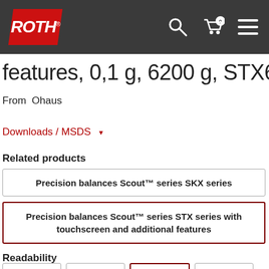[Figure (screenshot): ROTH website header with dark grey background, ROTH logo in red, search icon, shopping cart icon with 0 badge, and hamburger menu icon]
features, 0,1 g, 6200 g, STX6201
From  Ohaus
Downloads / MSDS
Related products
Precision balances Scout™ series SKX series
Precision balances Scout™ series STX series with touchscreen and additional features
Readability